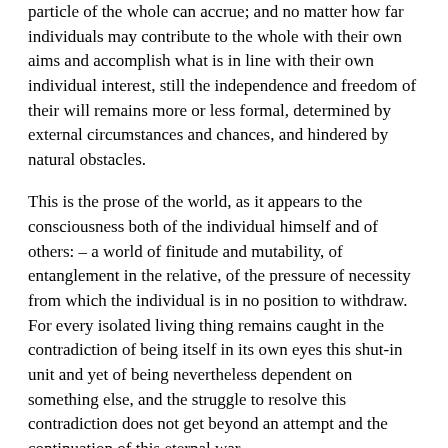particle of the whole can accrue; and no matter how far individuals may contribute to the whole with their own aims and accomplish what is in line with their own individual interest, still the independence and freedom of their will remains more or less formal, determined by external circumstances and chances, and hindered by natural obstacles.
This is the prose of the world, as it appears to the consciousness both of the individual himself and of others: – a world of finitude and mutability, of entanglement in the relative, of the pressure of necessity from which the individual is in no position to withdraw. For every isolated living thing remains caught in the contradiction of being itself in its own eyes this shut-in unit and yet of being nevertheless dependent on something else, and the struggle to resolve this contradiction does not get beyond an attempt and the continuation of this eternal war.
3. The Restrictedness of Immediate Individual Existence
But now thirdly, the immediate individual whether in the natural or the spiritual world is not only generally dependent on